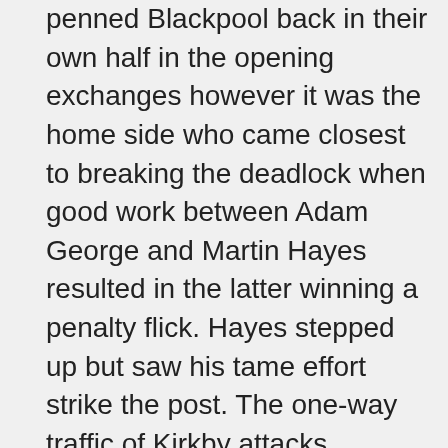penned Blackpool back in their own half in the opening exchanges however it was the home side who came closest to breaking the deadlock when good work between Adam George and Martin Hayes resulted in the latter winning a penalty flick. Hayes stepped up but saw his tame effort strike the post. The one-way traffic of Kirkby attacks continued as they were able to spray the ball around at will. The deadlock was eventually broken on the twenty-five minute mark when one of Kirby's young midfielders picked up the ball around the half-way line and passed numerous Blackpool players at ease before firing home under the body of Graeme Kilshaw in the Blackpool goal. The away side's lead was soon doubled shortly after when a switch off a the back allowed the opposition acres of space to simply lift the ball over Kilshaw into the net and 2-0 was how it stayed until the half-time.